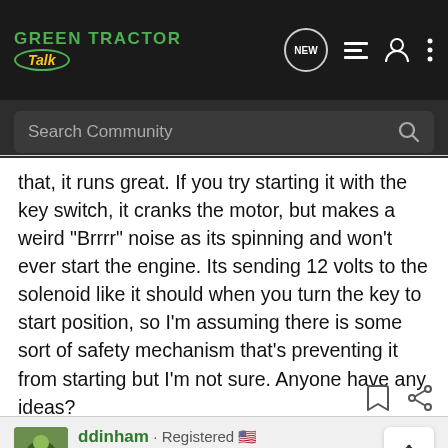Green Tractor Talk - Navigation bar with Search Community
that, it runs great. If you try starting it with the key switch, it cranks the motor, but makes a weird "Brrrr" noise as its spinning and won't ever start the engine. Its sending 12 volts to the solenoid like it should when you turn the key to start position, so I'm assuming there is some sort of safety mechanism that's preventing it from starting but I'm not sure. Anyone have any ideas?
ddinham · Registered 🇺🇸 Joined May 24, 2013 · 6,043 Posts
[Figure (screenshot): AG Daily New Ground ad banner presented by Chevrolet with Watch Now button]